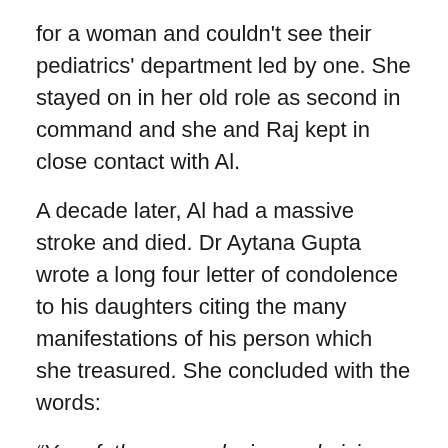for a woman and couldn't see their pediatrics' department led by one. She stayed on in her old role as second in command and she and Raj kept in close contact with Al.
A decade later, Al had a massive stroke and died. Dr Aytana Gupta wrote a long four letter of condolence to his daughters citing the many manifestations of his person which she treasured. She concluded with the words:
“Your father was a loving and giving person who asked for nothing. I wish more than anything that we had given him more than nothing.
“We are consumed with grief at this loss and will remember him as mentor, guide, father, grandfather, brother and loving friend – all that we had nothing of once – in this lovely and handsome person.
“We are proud to have known him and to have gained, so